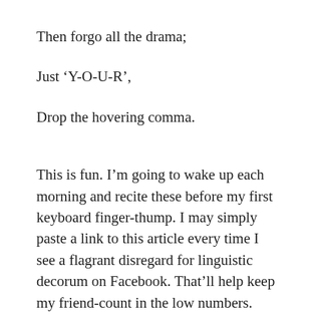Then forgo all the drama;
Just ‘Y-O-U-R’,
Drop the hovering comma.
This is fun. I’m going to wake up each morning and recite these before my first keyboard finger-thump. I may simply paste a link to this article every time I see a flagrant disregard for linguistic decorum on Facebook. That’ll help keep my friend-count in the low numbers.